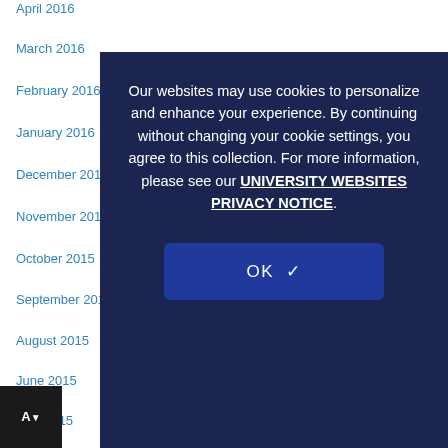April 2016
March 2016
February 2016
January 2016
December 2015
November 2015
October 2015
September 2015
August 2015
June 2015
May 2015
April 2015
March 2015
January 2015
December 2014
[Figure (screenshot): Cookie consent overlay on a dark navy background with text: Our websites may use cookies to personalize and enhance your experience. By continuing without changing your cookie settings, you agree to this collection. For more information, please see our UNIVERSITY WEBSITES PRIVACY NOTICE. With an OK button below.]